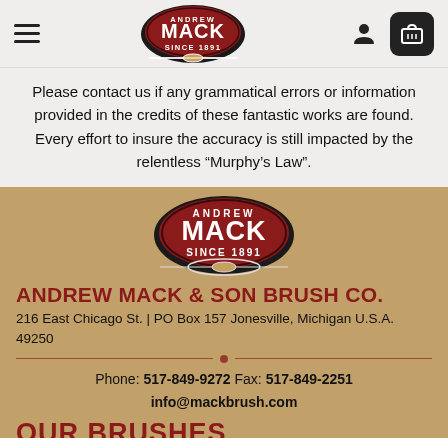[Figure (logo): Andrew Mack Since 1891 circular logo badge - red circle with white text and paintbrush]
Please contact us if any grammatical errors or information provided in the credits of these fantastic works are found. Every effort to insure the accuracy is still impacted by the relentless “Murphy’s Law”.
[Figure (logo): Andrew Mack Since 1891 circular logo badge - red circle with white text and paintbrush]
ANDREW MACK & SON BRUSH CO.
216 East Chicago St. | PO Box 157 Jonesville, Michigan U.S.A. 49250
Phone: 517-849-9272 Fax: 517-849-2251
info@mackbrush.com